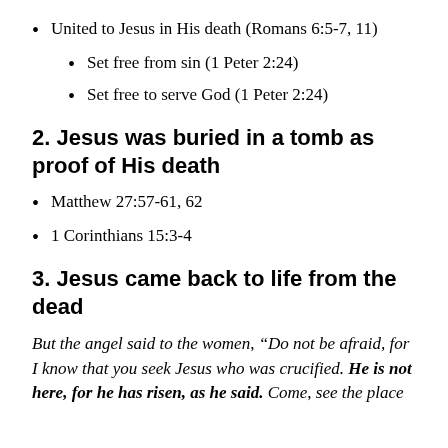United to Jesus in His death (Romans 6:5-7, 11)
Set free from sin (1 Peter 2:24)
Set free to serve God (1 Peter 2:24)
2. Jesus was buried in a tomb as proof of His death
Matthew 27:57-61, 62
1 Corinthians 15:3-4
3. Jesus came back to life from the dead
But the angel said to the women, “Do not be afraid, for I know that you seek Jesus who was crucified. He is not here, for he has risen, as he said. Come, see the place